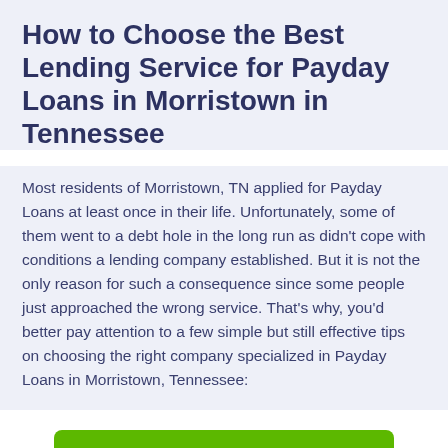How to Choose the Best Lending Service for Payday Loans in Morristown in Tennessee
Most residents of Morristown, TN applied for Payday Loans at least once in their life. Unfortunately, some of them went to a debt hole in the long run as didn't cope with conditions a lending company established. But it is not the only reason for such a consequence since some people just approached the wrong service. That's why, you'd better pay attention to a few simple but still effective tips on choosing the right company specialized in Payday Loans in Morristown, Tennessee:
[Figure (other): Green 'Apply Now' button]
Applying does NOT affect your credit score!
No credit check to apply.